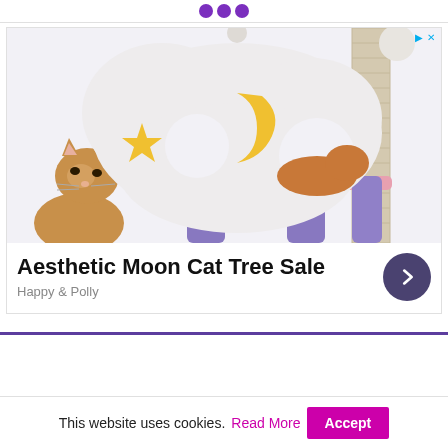[Figure (photo): A cat peeking out from behind a cat tree with a white cloud-shaped platform decorated with a yellow star and crescent moon. The cat tree has purple/lavender posts and pink platform, with a sisal scratching post and hanging pom-poms.]
Aesthetic Moon Cat Tree Sale
Happy & Polly
This website uses cookies. Read More Accept